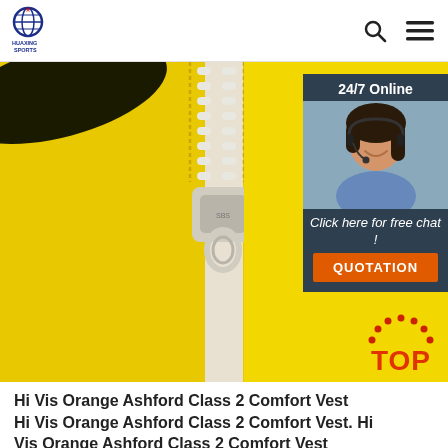HUAXING SPORTS
[Figure (photo): Close-up photo of a yellow high-visibility vest with a white zipper and black velcro strips. A customer service chat widget overlay in the top-right shows '24/7 Online', a female agent with headset, 'Click here for free chat!' text, and an orange QUOTATION button. A red TOP badge appears in the bottom right of the image.]
Hi Vis Orange Ashford Class 2 Comfort Vest Hi Vis Orange Ashford Class 2 Comfort Vest. Hi Vis Orange Ashford Class 2 Comfort Vest